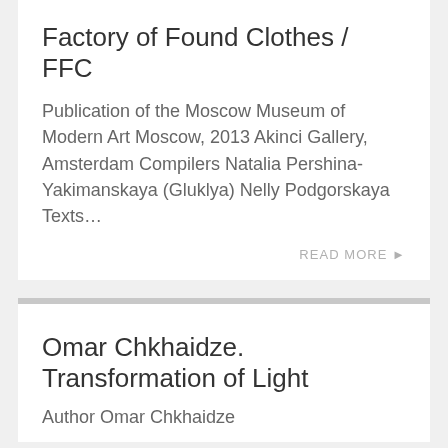Factory of Found Clothes / FFC
Publication of the Moscow Museum of Modern Art Moscow, 2013 Akinci Gallery, Amsterdam Compilers Natalia Pershina-Yakimanskaya (Gluklya) Nelly Podgorskaya Texts…
READ MORE ▶
Omar Chkhaidze. Transformation of Light
Author Omar Chkhaidze